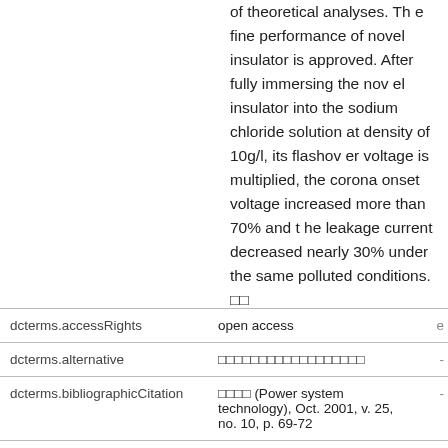of theoretical analyses. Th e fine performance of novel insulator is approved. After fully immersing the nov el insulator into the sodium chloride solution at density of 10g/l, its flashov er voltage is multiplied, the corona onset voltage increased more than 70% and t he leakage current decreased nearly 30% under the same polluted conditions. □□
|  |  |  |
| --- | --- | --- |
| dcterms.accessRights | open access | e |
| dcterms.alternative | □□□□□□□□□□□□□□□□□□ | - |
| dcterms.bibliographicCitation | □□□□ (Power system technology), Oct. 2001, v. 25, no. 10, p. 69-72 | - |
| dcterms.isPartOf | □□□□ (Power system technology) | - |
| dcterms.issued | 2001 | - |